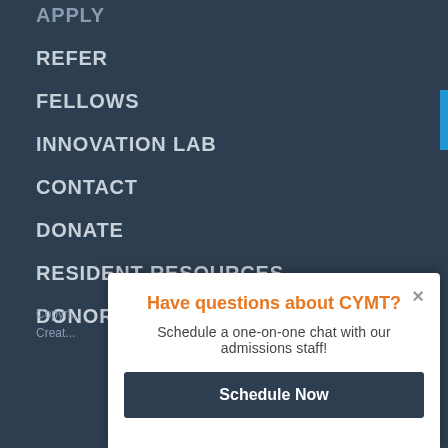APPLY
REFER
FELLOWS
INNOVATION LAB
CONTACT
DONATE
RESIDENT RESOURCES
DONOR EVENTS
Copyri...
Creat...
Have questions about CYMT?
Schedule a one-on-one chat with our admissions staff!
Schedule Now